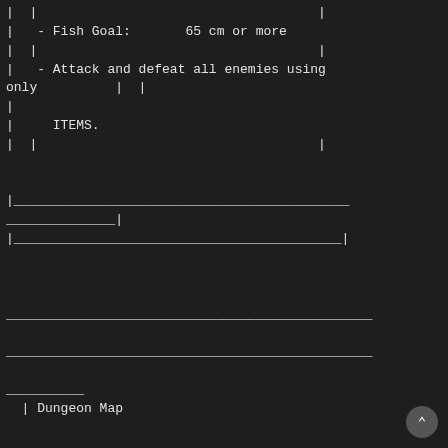| |
|   - Fish Goal:       65 cm or more
| |                                    |
|   - Attack and defeat all enemies using only        | |
|
|     ITEMS.
| |                                    |


|___________________________________________
______________|
|_________________________________________|



_______________________________________________

_______________________________________________

__________
  | Dungeon Map
| Dungeon Map